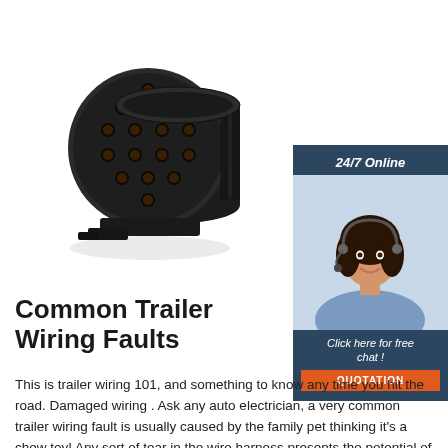[Figure (photo): Black 13-pin trailer socket/connector plug, photographed from the front showing multiple circular pin holes arranged in a pattern, with a locking bracket at the base.]
[Figure (photo): Woman with dark hair wearing a headset/microphone, smiling, in a customer service agent pose, blue shirt. Sidebar advertisement panel with '24/7 Online' header and 'Click here for free chat!' text above an orange QUOTATION button.]
Common Trailer Wiring Faults
This is trailer wiring 101, and something to know any time you hit the road. Damaged wiring . Ask any auto electrician, a very common trailer wiring fault is usually caused by the family pet thinking it's a chew toy! Any sort of tear in the wire harness presents the potential of a short to earth which in turns…